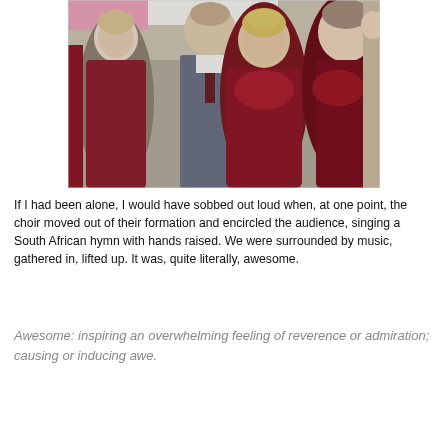[Figure (photo): Group photo of a choir: several young men in suits with ties and several young women in dark red/maroon patterned tops, singing outdoors. The central woman has short blonde hair.]
If I had been alone, I would have sobbed out loud when, at one point, the choir moved out of their formation and encircled the audience, singing a South African hymn with hands raised. We were surrounded by music, gathered in, lifted up. It was, quite literally, awesome.
Awesome: inspiring an overwhelming feeling of reverence or admiration; causing or inducing awe.